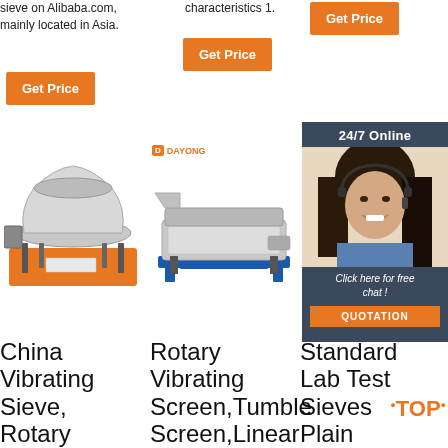sieve on Alibaba.com, mainly located in Asia.
characteristics 1.
[Figure (other): Orange 'Get Price' button top right]
[Figure (other): Orange 'Get Price' button middle]
[Figure (other): Orange 'Get Price' button left]
[Figure (photo): China Vibrating Sieve rotary machine on orange base]
[Figure (photo): Dayong Rotary Vibrating Screen / Tumble Screen machine on blue frame]
[Figure (photo): 24/7 Online chat widget with smiling woman with headset]
China Vibrating Sieve, Rotary
Rotary Vibrating Screen, Tumble Screen, Linear
Standard Lab Test Sieves Plain